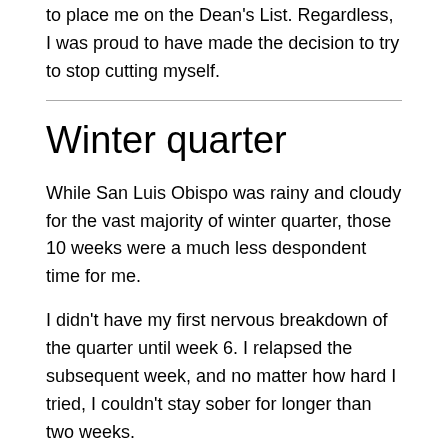to place me on the Dean's List. Regardless, I was proud to have made the decision to try to stop cutting myself.
Winter quarter
While San Luis Obispo was rainy and cloudy for the vast majority of winter quarter, those 10 weeks were a much less despondent time for me.
I didn't have my first nervous breakdown of the quarter until week 6. I relapsed the subsequent week, and no matter how hard I tried, I couldn't stay sober for longer than two weeks.
Later I learned from personal experience and the